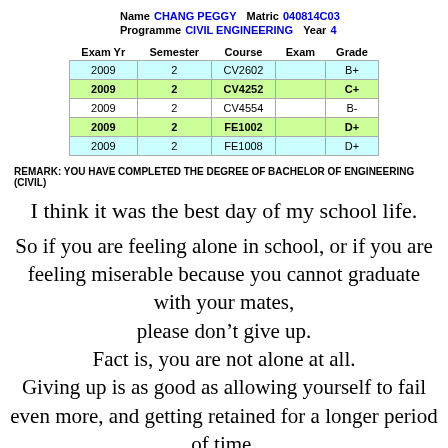| Name | CHANG PEGGY | Matric | 040814C03 |
| --- | --- | --- | --- |
| Programme | CIVIL ENGINEERING | Year | 4 |
| Exam Yr | Semester | Course | Exam | Grade |
| --- | --- | --- | --- | --- |
| 2009 | 2 | CV2602 |  | B+ |
| 2009 | 2 | CV4252 |  | C+ |
| 2009 | 2 | CV4554 |  | B- |
| 2009 | 2 | FE1002 |  | D+ |
| 2009 | 2 | FE1008 |  | D+ |
REMARK: YOU HAVE COMPLETED THE DEGREE OF BACHELOR OF ENGINEERING (CIVIL)
I think it was the best day of my school life.
So if you are feeling alone in school, or if you are feeling miserable because you cannot graduate with your mates, please don’t give up. Fact is, you are not alone at all. Giving up is as good as allowing yourself to fail even more, and getting retained for a longer period of time.